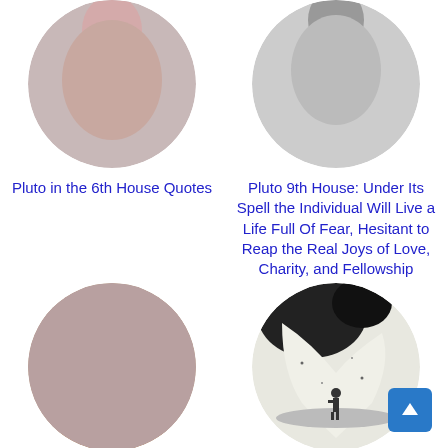[Figure (photo): Circular cropped photo - top portion of person, partially visible at top of page]
Pluto in the 6th House Quotes
[Figure (photo): Circular cropped photo - top portion of another figure, partially visible at top of page]
Pluto 9th House: Under Its Spell the Individual Will Live a Life Full Of Fear, Hesitant to Reap the Real Joys of Love, Charity, and Fellowship
[Figure (photo): Circular photo of a woman with long dark hair, looking to the side]
Pluto in the 3rd
[Figure (photo): Circular black and white illustration of a person standing under a large moon or celestial body]
Moon in the 4th